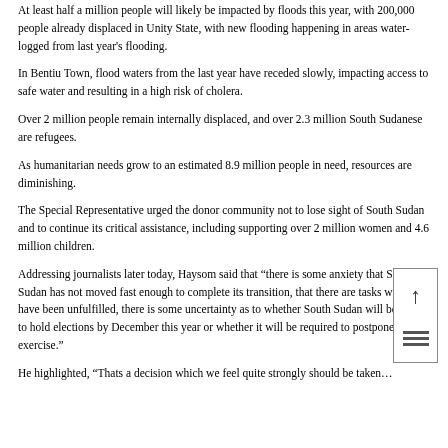At least half a million people will likely be impacted by floods this year, with 200,000 people already displaced in Unity State, with new flooding happening in areas water-logged from last year's flooding.
In Bentiu Town, flood waters from the last year have receded slowly, impacting access to safe water and resulting in a high risk of cholera.
Over 2 million people remain internally displaced, and over 2.3 million South Sudanese are refugees.
As humanitarian needs grow to an estimated 8.9 million people in need, resources are diminishing.
The Special Representative urged the donor community not to lose sight of South Sudan and to continue its critical assistance, including supporting over 2 million women and 4.6 million children.
Addressing journalists later today, Haysom said that “there is some anxiety that South Sudan has not moved fast enough to complete its transition, that there are tasks which have been unfulfilled, there is some uncertainty as to whether South Sudan will be able to hold elections by December this year or whether it will be required to postpone that exercise.”
He highlighted, “Thats a decision which we feel quite strongly should be taken…